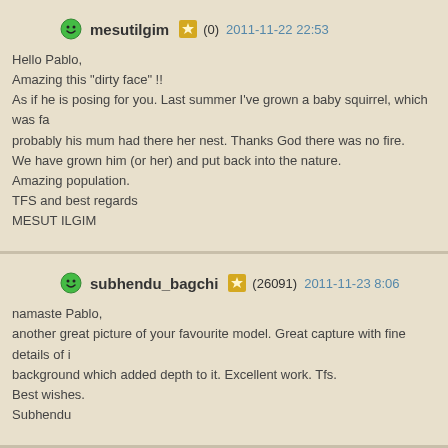mesutilgim (0) 2011-11-22 22:53
Hello Pablo,
Amazing this "dirty face" !!
As if he is posing for you. Last summer I've grown a baby squirrel, which was fa probably his mum had there her nest. Thanks God there was no fire.
We have grown him (or her) and put back into the nature.
Amazing population.
TFS and best regards
MESUT ILGIM
subhendu_bagchi (26091) 2011-11-23 8:06
namaste Pablo,
another great picture of your favourite model. Great capture with fine details of i background which added depth to it. Excellent work. Tfs.
Best wishes.
Subhendu
gildasjan (43826) 2011-11-23 11:42
Bonsoir Pablo
Il est bien mignon cet écureuil qui regarde le photographe.Très bonne netteté s